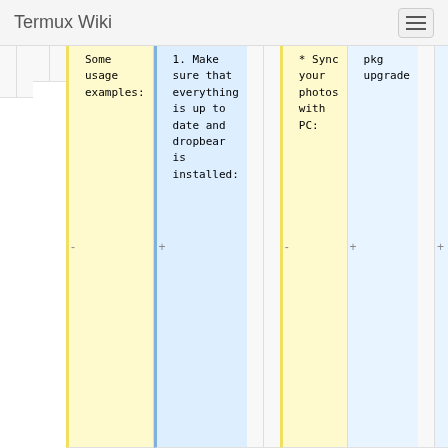Termux Wiki
Some usage examples:
1. Make sure that everything is up to date and dropbear is installed:
* Sync your photos with PC:
pkg upgrade
pkg install dropbear
$ rsync -av /sdcard/DCIM/ user@192.168.1.20:~/Pictures/Android/